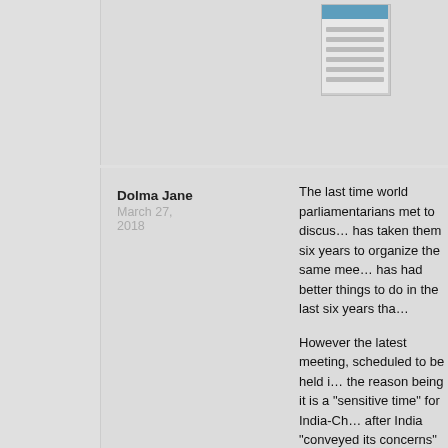[Figure (screenshot): A small thumbnail screenshot of a webpage or social media post]
Reply
Dolma Jane
March 27, 2018
The last time world parliamentarians met to discuss… has taken them six years to organize the same mee… has had better things to do in the last six years tha…
However the latest meeting, scheduled to be held i… the reason being it is a "sensitive time" for India-Ch… after India "conveyed its concerns" to the Tibetan b… like a benign reason, this is not the first incident in… directed the CTA to stop provoking China. Very sig… Secretary also directed Indian officials not to atte… their "Thank You India" campaign, meant to celebr… towards the Tibetans.
Apart from the cancelation of those Tibetan-relate… Lama also announced that he would not travel for y… spell doom for the Central Tibetan Administration (… not want anything to do with the Tibetans, and it is…